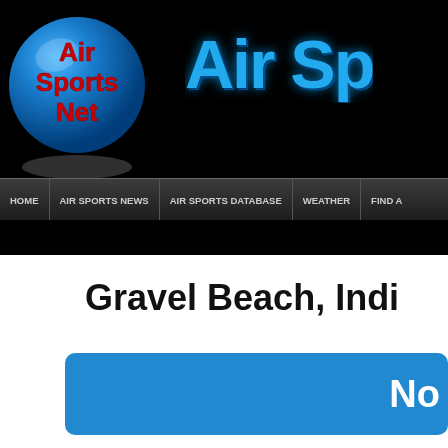Air Sports Net — Air Sp[orts Net]
HOME | AIR SPORTS NEWS | AIR SPORTS DATABASE | WEATHER | FIND A
Gravel Beach, Indi[ana]
No[...]